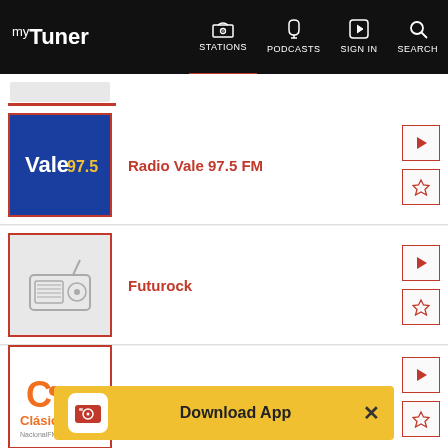myTuner — STATIONS | PODCASTS | SIGN IN | SEARCH
[Figure (screenshot): Radio Vale 97.5 FM station thumbnail with blue background and Vale 97.5 text]
Radio Vale 97.5 FM
[Figure (screenshot): Futurock station thumbnail with generic gray radio icon]
Futurock
[Figure (screenshot): Nacional Clasica station thumbnail with Clasica logo and NacionalFM96.7 text]
Nacional Clásica
Download App